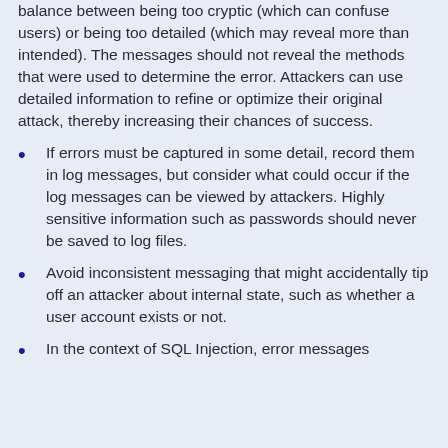balance between being too cryptic (which can confuse users) or being too detailed (which may reveal more than intended). The messages should not reveal the methods that were used to determine the error. Attackers can use detailed information to refine or optimize their original attack, thereby increasing their chances of success.
If errors must be captured in some detail, record them in log messages, but consider what could occur if the log messages can be viewed by attackers. Highly sensitive information such as passwords should never be saved to log files.
Avoid inconsistent messaging that might accidentally tip off an attacker about internal state, such as whether a user account exists or not.
In the context of SQL Injection, error messages